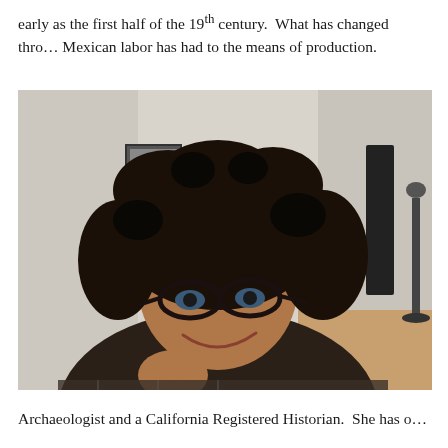early as the first half of the 19th century.  What has changed thro… Mexican labor has had to the means of production.
[Figure (photo): Portrait photo of a woman with curly dark hair and glasses, smiling and giving a thumbs up, in an indoor setting with framed pictures and a lamp visible in the background.]
Archaeologist and a California Registered Historian.  She has o…